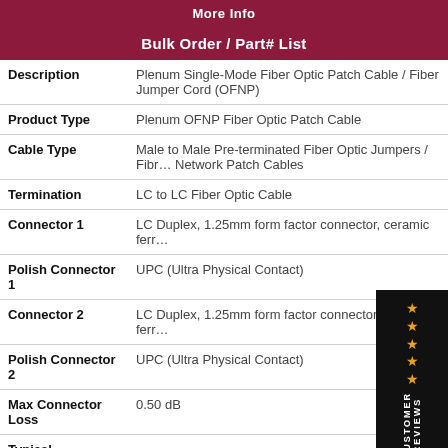More Info
Bulk Order / Part# List
| Property | Value |
| --- | --- |
| Description | Plenum Single-Mode Fiber Optic Patch Cable / Fiber Jumper Cord (OFNP) |
| Product Type | Plenum OFNP Fiber Optic Patch Cable |
| Cable Type | Male to Male Pre-terminated Fiber Optic Jumpers / Fiber Network Patch Cables |
| Termination | LC to LC Fiber Optic Cable |
| Connector 1 | LC Duplex, 1.25mm form factor connector, ceramic ferr… |
| Polish Connector 1 | UPC (Ultra Physical Contact) |
| Connector 2 | LC Duplex, 1.25mm form factor connector, ceramic ferr… |
| Polish Connector 2 | UPC (Ultra Physical Contact) |
| Max Connector Loss | 0.50 dB |
| Typical |  |